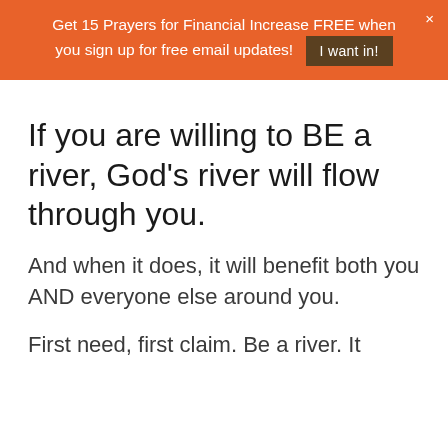Get 15 Prayers for Financial Increase FREE when you sign up for free email updates! I want in!
If you are willing to BE a river, God's river will flow through you.
And when it does, it will benefit both you AND everyone else around you.
First need, first claim. Be a river. It